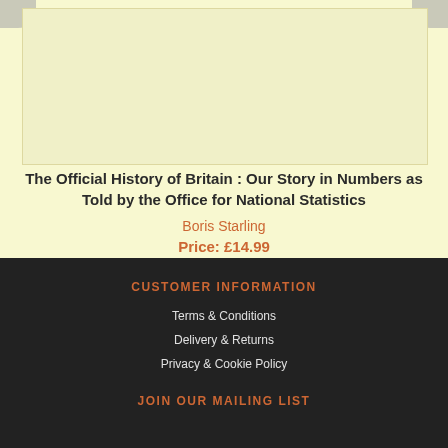[Figure (other): Book cover image placeholder area with navigation arrows on left and right]
The Official History of Britain : Our Story in Numbers as Told by the Office for National Statistics
Boris Starling
Price: £14.99
CUSTOMER INFORMATION
Terms & Conditions
Delivery & Returns
Privacy & Cookie Policy
JOIN OUR MAILING LIST